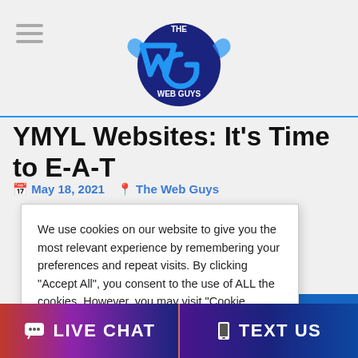The Web Guys logo header
YMYL Websites: It's Time to E-A-T
May 18, 2021   The Web Guys
We use cookies on our website to give you the most relevant experience by remembering your preferences and repeat visits. By clicking "Accept All", you consent to the use of ALL the cookies. However, you may visit "Cookie Settings" to provide a controlled consent.
Cookie Settings   Accept All
LIVE CHAT   TEXT US